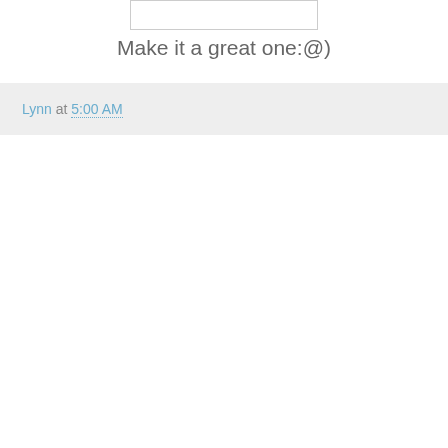[Figure (other): Small white rectangular image placeholder with light border]
Make it a great one:@)
Lynn at 5:00 AM